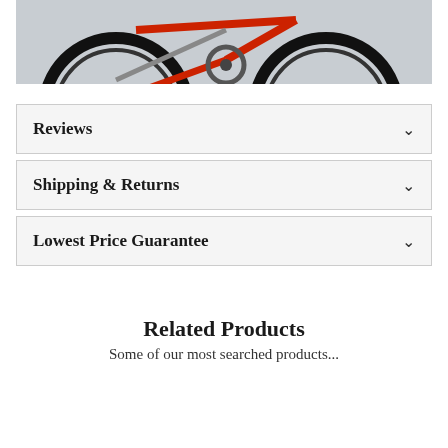[Figure (photo): Partial view of a bicycle (fat tire bike) photographed on a concrete surface, showing the rear wheel, drivetrain, and partial frame. The image is cropped at the top.]
Reviews
Shipping & Returns
Lowest Price Guarantee
Related Products
Some of our most searched products...